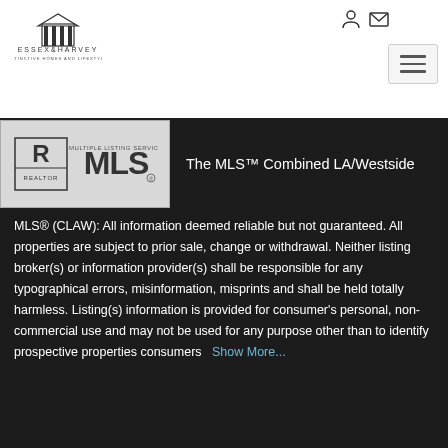[Figure (logo): Essex & Harvey Distinctive Homes and Lifestyles company logo]
[Figure (logo): REALTOR MLS Multiple Listing Service logo in gray box]
The MLS™ Combined LA/Westside
MLS® (CLAW): All information deemed reliable but not guaranteed. All properties are subject to prior sale, change or withdrawal. Neither listing broker(s) or information provider(s) shall be responsible for any typographical errors, misinformation, misprints and shall be held totally harmless. Listing(s) information is provided for consumer's personal, non-commercial use and may not be used for any purpose other than to identify prospective properties consumers   Show More...